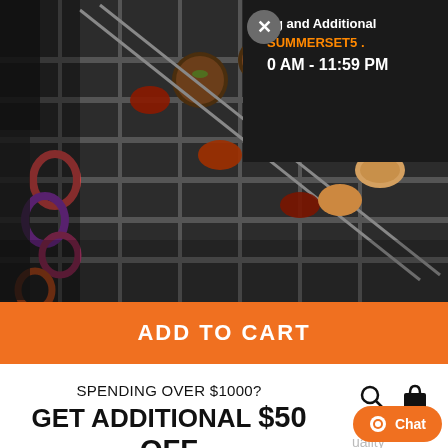[Figure (photo): Grilled food items (mushrooms, seafood, kebabs) on a barbecue grill, close-up shot]
ng and Additional
SUMMERSET5 .
0 AM - 11:59 PM
ADD TO CART
SPENDING OVER $1000?
GET ADDITIONAL $50 OFF
Sign up to get email & text updates.
Email address
Phone Number
By entering your phone number, you agree to receive marketing text messages from our company and phone calls at the number provided, including messages sent by autodialer. Consent is not a condition of purchase. Message and data rates may apply. Message frequency
uality
yl is
ith
cant, 2-
aterial
UV
and
st the
Chat